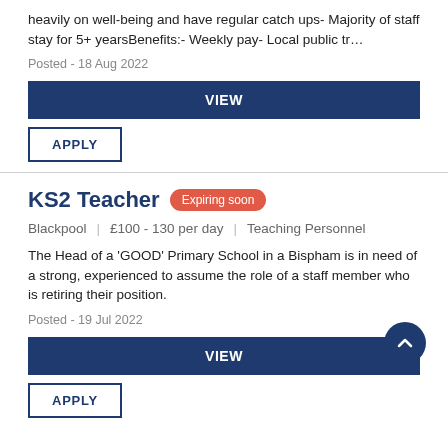heavily on well-being and have regular catch ups- Majority of staff stay for 5+ yearsBenefits:- Weekly pay- Local public tr…
Posted - 18 Aug 2022
VIEW
APPLY
KS2 Teacher   Expiring soon
Blackpool   |   £100 - 130 per day   |   Teaching Personnel
The Head of a 'GOOD' Primary School in a Bispham is in need of a strong, experienced to assume the role of a staff member who is retiring their position.
Posted - 19 Jul 2022
VIEW
APPLY